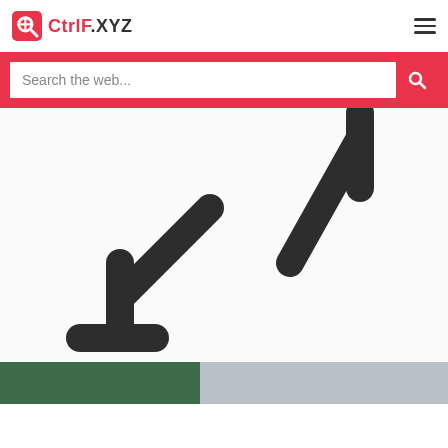[Figure (screenshot): CtrlF.XYZ website header with logo, hamburger menu, and search bar with text 'Search the web...', followed by a white content area showing two large arrow icons (upper-right arrow pointing up-right, lower-left arrow pointing down-left), and a partial image strip at the bottom.]